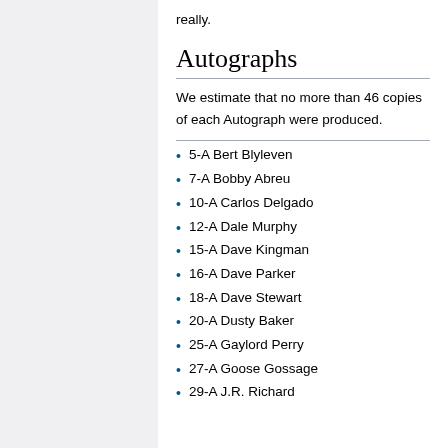really.
Autographs
We estimate that no more than 46 copies of each Autograph were produced.
5-A Bert Blyleven
7-A Bobby Abreu
10-A Carlos Delgado
12-A Dale Murphy
15-A Dave Kingman
16-A Dave Parker
18-A Dave Stewart
20-A Dusty Baker
25-A Gaylord Perry
27-A Goose Gossage
29-A J.R. Richard